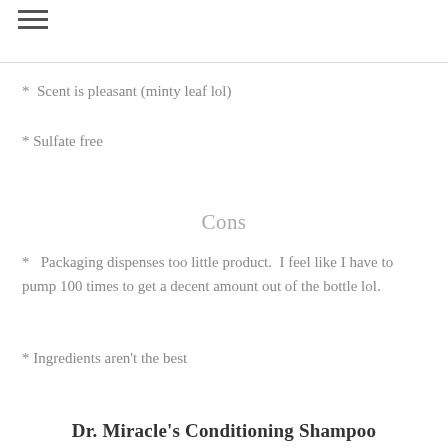≡
* Scent is pleasant (minty leaf lol)
* Sulfate free
Cons
*  Packaging dispenses too little product.  I feel like I have to pump 100 times to get a decent amount out of the bottle lol.
* Ingredients aren't the best
Dr. Miracle's Conditioning Shampoo